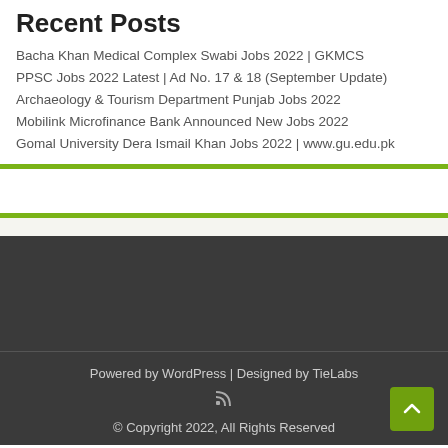Recent Posts
Bacha Khan Medical Complex Swabi Jobs 2022 | GKMCS
PPSC Jobs 2022 Latest | Ad No. 17 & 18 (September Update)
Archaeology & Tourism Department Punjab Jobs 2022
Mobilink Microfinance Bank Announced New Jobs 2022
Gomal University Dera Ismail Khan Jobs 2022 | www.gu.edu.pk
Powered by WordPress | Designed by TieLabs
© Copyright 2022, All Rights Reserved